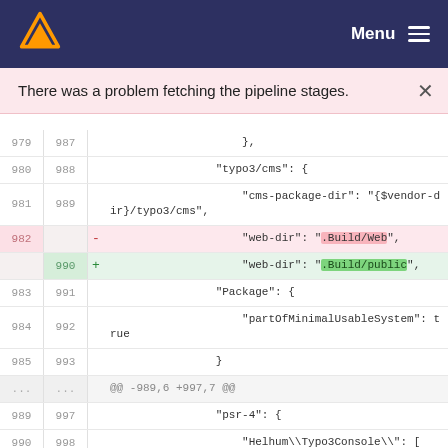Menu
There was a problem fetching the pipeline stages.
[Figure (screenshot): Code diff view showing changes to a composer.json or similar file. Lines 979-991 on left (old), 987-999 on right (new). Shows deletion of 'web-dir': '.Build/Web' and insertion of 'web-dir': '.Build/public'. Also shows context lines with typo3/cms package configuration, Package block, psr-4 autoload, and Helhum\Typo3Console\\ entries.]